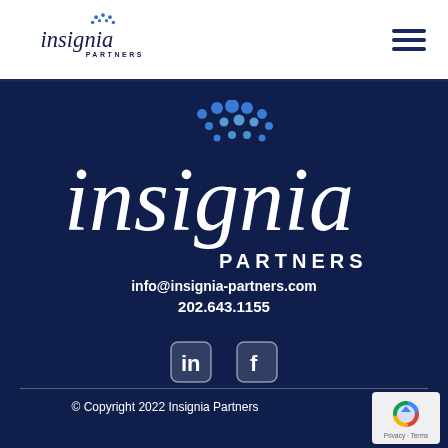[Figure (logo): Insignia Partners logo in dark navy blue with dot cluster above text, header version]
[Figure (logo): Hamburger menu icon (three horizontal lines) in dark navy]
[Figure (logo): Insignia Partners large white logo on dark navy background with blue dot cluster]
info@insignia-partners.com
202.643.1155
[Figure (other): LinkedIn and Facebook social media icons in white on dark navy background]
© Copyright 2022 Insignia Partners